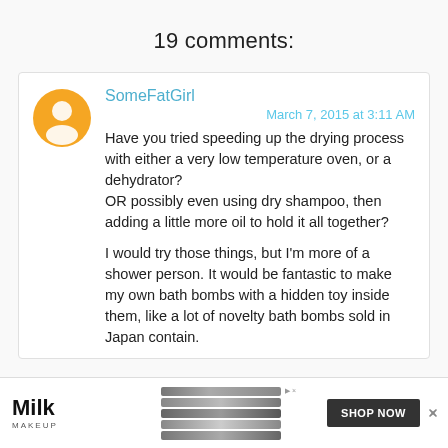19 comments:
SomeFatGirl
March 7, 2015 at 3:11 AM
Have you tried speeding up the drying process with either a very low temperature oven, or a dehydrator?
OR possibly even using dry shampoo, then adding a little more oil to hold it all together?

I would try those things, but I'm more of a shower person. It would be fantastic to make my own bath bombs with a hidden toy inside them, like a lot of novelty bath bombs sold in Japan contain.
[Figure (illustration): Advertisement banner for Milk Makeup showing pencils/products and Shop Now button]